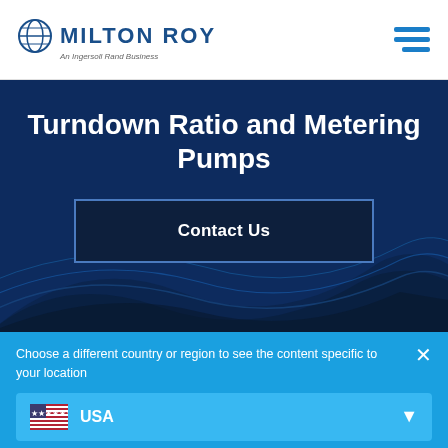[Figure (logo): Milton Roy logo — globe icon with company name and tagline 'An Ingersoll Rand Business']
Turndown Ratio and Metering Pumps
Contact Us
Choose a different country or region to see the content specific to your location
USA
Continue